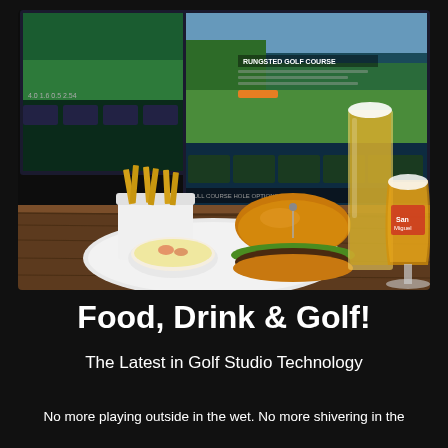[Figure (photo): Photo of a burger with fries, a dipping sauce on a white plate, accompanied by two beer glasses, set on a wooden table in front of golf simulator screens showing 'Rungsted Golf Course']
Food, Drink & Golf!
The Latest in Golf Studio Technology
No more playing outside in the wet. No more shivering in the